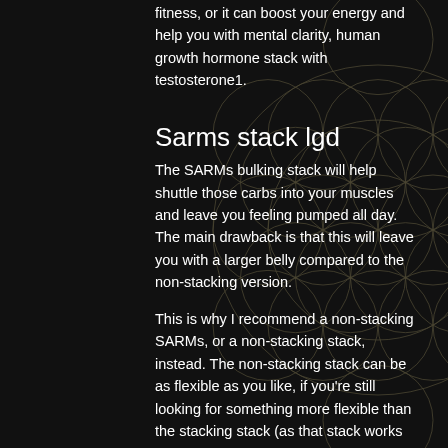fitness, or it can boost your energy and help you with mental clarity, human growth hormone stack with testosterone1.
Sarms stack lgd
The SARMs bulking stack will help shuttle those carbs into your muscles and leave you feeling pumped all day. The main drawback is that this will leave you with a larger belly compared to the non-stacking version.
This is why I recommend a non-stacking SARMs, or a non-stacking stack, instead. The non-stacking stack can be as flexible as you like, if you're still looking for something more flexible than the stacking stack (as that stack works wonders for those needing more flexibility), human growth hormone levels by age.